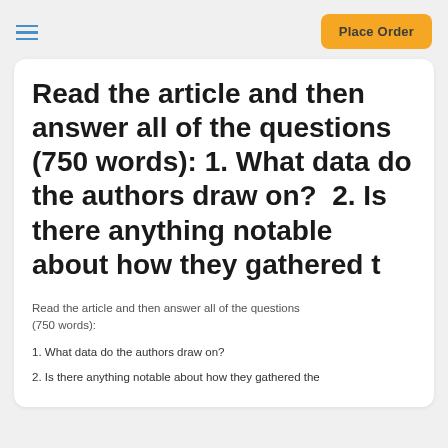[Figure (other): Hamburger menu icon (three horizontal blue lines)]
[Figure (other): Orange 'Place Order' button]
Read the article and then answer all of the questions (750 words): 1. What data do the authors draw on?  2. Is there anything notable about how they gathered t
Read the article and then answer all of the questions (750 words):
1. What data do the authors draw on?
2. Is there anything notable about how they gathered the